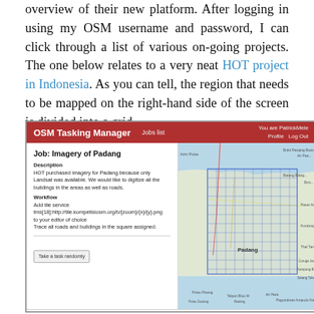overview of their new platform. After logging in using my OSM username and password, I can click through a list of various on-going projects. The one below relates to a very neat HOT project in Indonesia. As you can tell, the region that needs to be mapped on the right-hand side of the screen is divided into a grid.
[Figure (screenshot): Screenshot of OSM Tasking Manager showing the 'Job: Imagery of Padang' page with a description of the HOT project, workflow instructions, a 'Take a task randomly' button on the left, and a map of the Padang region divided into a grid on the right. The header bar is dark red with 'OSM Tasking Manager' title, 'Jobs list' link, and 'Profile / Log Out' options.]